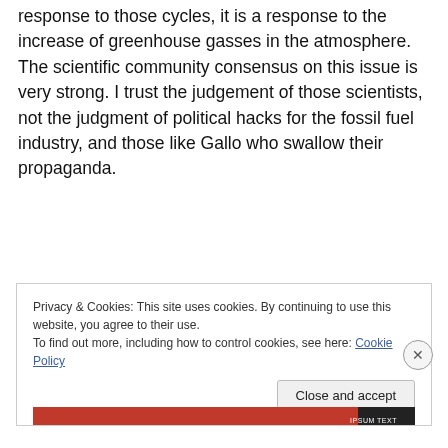response to those cycles, it is a response to the increase of greenhouse gasses in the atmosphere. The scientific community consensus on this issue is very strong. I trust the judgement of those scientists, not the judgment of political hacks for the fossil fuel industry, and those like Gallo who swallow their propaganda.
Privacy & Cookies: This site uses cookies. By continuing to use this website, you agree to their use.
To find out more, including how to control cookies, see here: Cookie Policy
Close and accept